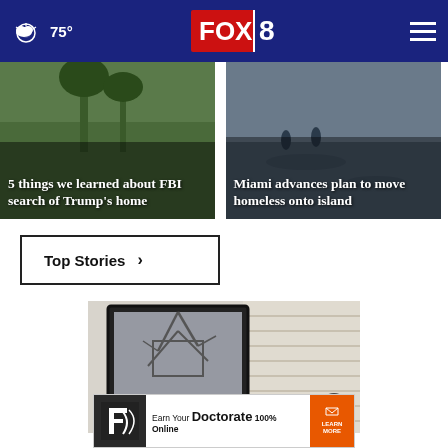FOX 8 — 75°
[Figure (screenshot): News card: 5 things we learned about FBI search of Trump's home]
[Figure (screenshot): News card: Miami advances plan to move homeless onto island]
Top Stories ›
[Figure (photo): Basketball hoop with close-up photo of a ring/lock mechanism]
[Figure (screenshot): Advertisement: Franklin University — Earn Your Doctorate 100% Online — Learn More]